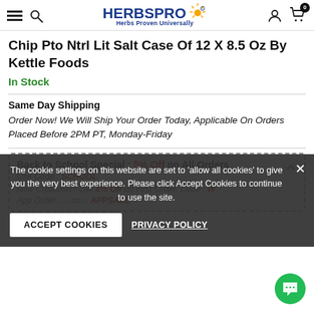HerbsPro - Herbs Proven Universally
Chip Pto Ntrl Lit Salt Case Of 12 X 8.5 Oz By Kettle Foods
In Stock
Same Day Shipping
Order Now! We Will Ship Your Order Today, Applicable On Orders Placed Before 2PM PT, Monday-Friday
Back to School Special : 5% Off on All Orders
New Customer? Get 6% Off on First Order, Code : W...
App Order... ...on... APPSALE
The cookie settings on this website are set to 'allow all cookies' to give you the very best experience. Please click Accept Cookies to continue to use the site.